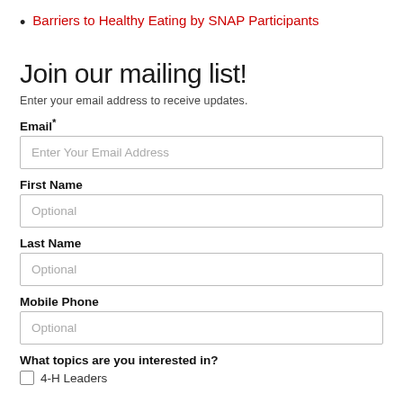Barriers to Healthy Eating by SNAP Participants
Join our mailing list!
Enter your email address to receive updates.
Email*
Enter Your Email Address
First Name
Optional
Last Name
Optional
Mobile Phone
Optional
What topics are you interested in?
4-H Leaders